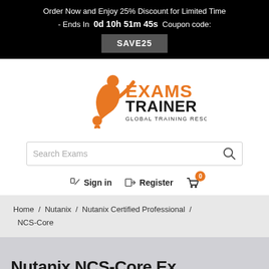Order Now and Enjoy 25% Discount for Limited Time - Ends In 0d 10h 51m 45s Coupon code: SAVE25
[Figure (logo): Exams Trainer - Global Training Resource logo with orange figure and text]
Search Exams
Sign in  Register  0
Home / Nutanix / Nutanix Certified Professional / NCS-Core
Nutanix NCS-Core Ex...